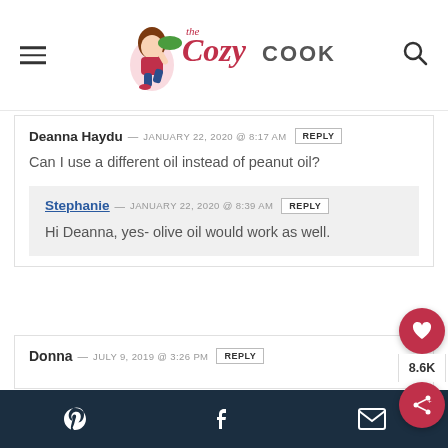The Cozy Cook — website header with logo, hamburger menu, and search icon
Deanna Haydu — JANUARY 22, 2020 @ 8:17 AM  REPLY
Can I use a different oil instead of peanut oil?
Stephanie — JANUARY 22, 2020 @ 8:39 AM  REPLY
Hi Deanna, yes- olive oil would work as well.
Donna — JULY 9, 2019 @ 3:26 PM  REPLY
Pinterest  Facebook  Email  — social share footer bar